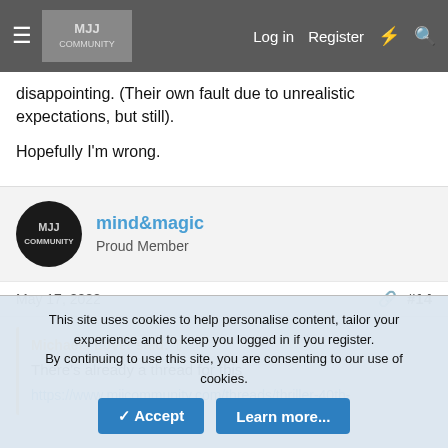Log in  Register
disappointing. (Their own fault due to unrealistic expectations, but still).

Hopefully I'm wrong.
mind&magic
Proud Member
May 17, 2022  #14
Michaels Lover said:
There's already a thread for this
https://www.mjjcommunity.com/threads/thriller-40th-
This site uses cookies to help personalise content, tailor your experience and to keep you logged in if you register.
By continuing to use this site, you are consenting to our use of cookies.